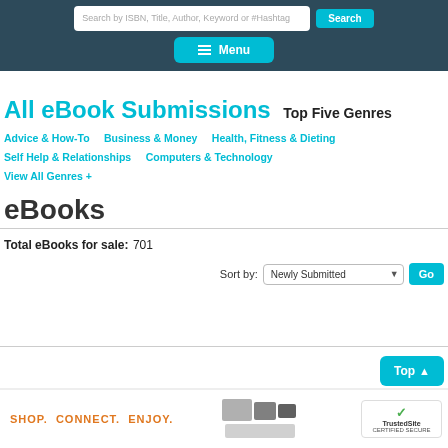Search bar and Menu navigation header
All eBook Submissions
Top Five Genres
Advice & How-To
Business & Money
Health, Fitness & Dieting
Self Help & Relationships
Computers & Technology
View All Genres +
eBooks
Total eBooks for sale: 701
Sort by: Newly Submitted Go
SHOP. CONNECT. ENJOY. TrustedSite CERTIFIED SECURE